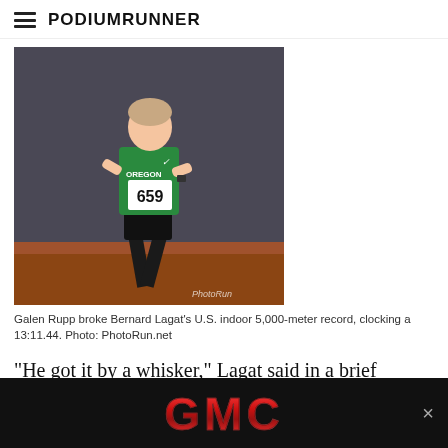PodiumRunner
[Figure (photo): Runner wearing green Oregon jersey with bib number 659 on a track. Photo watermark: PhotoRun]
Galen Rupp broke Bernard Lagat’s U.S. indoor 5,000-meter record, clocking a 13:11.44. Photo: PhotoRun.net
“He got it by a whisker,” Lagat said in a brief telephone interview from Tucson today.
Farah started off conservatively and initially was as far back as 20 meters off the leaders.  But, as pacemaker Scott Overall stepped off the track with 15 laps to go, Farah moved up into third and was already well inside record breaking pace when he moved t
[Figure (logo): GMC advertisement banner with GMC logo in red metallic letters on black background with close button]